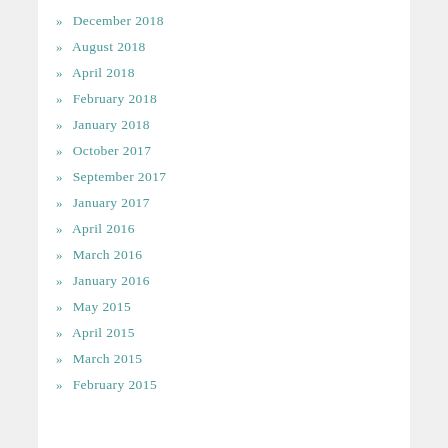» December 2018
» August 2018
» April 2018
» February 2018
» January 2018
» October 2017
» September 2017
» January 2017
» April 2016
» March 2016
» January 2016
» May 2015
» April 2015
» March 2015
» February 2015